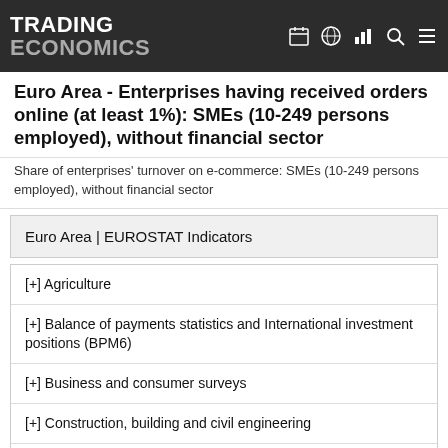TRADING ECONOMICS
Euro Area - Enterprises having received orders online (at least 1%): SMEs (10-249 persons employed), without financial sector
Share of enterprises' turnover on e-commerce: SMEs (10-249 persons employed), without financial sector
Euro Area | EUROSTAT Indicators
[+] Agriculture
[+] Balance of payments statistics and International investment positions (BPM6)
[+] Business and consumer surveys
[+] Construction, building and civil engineering
[+] Education